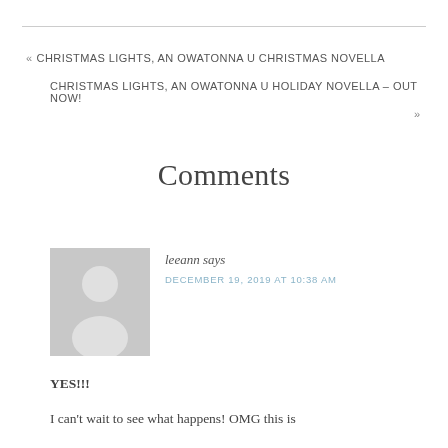« CHRISTMAS LIGHTS, AN OWATONNA U CHRISTMAS NOVELLA
CHRISTMAS LIGHTS, AN OWATONNA U HOLIDAY NOVELLA – OUT NOW!
»
Comments
[Figure (illustration): Grey default avatar placeholder showing a silhouette of a person (head and shoulders) on a grey background]
leeann says
DECEMBER 19, 2019 AT 10:38 AM
YES!!!
I can't wait to see what happens! OMG this is